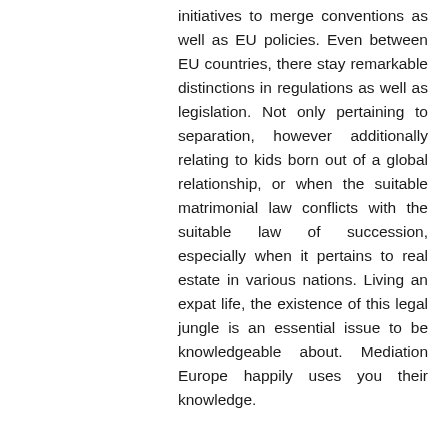initiatives to merge conventions as well as EU policies. Even between EU countries, there stay remarkable distinctions in regulations as well as legislation. Not only pertaining to separation, however additionally relating to kids born out of a global relationship, or when the suitable matrimonial law conflicts with the suitable law of succession, especially when it pertains to real estate in various nations. Living an expat life, the existence of this legal jungle is an essential issue to be knowledgeable about. Mediation Europe happily uses you their knowledge.